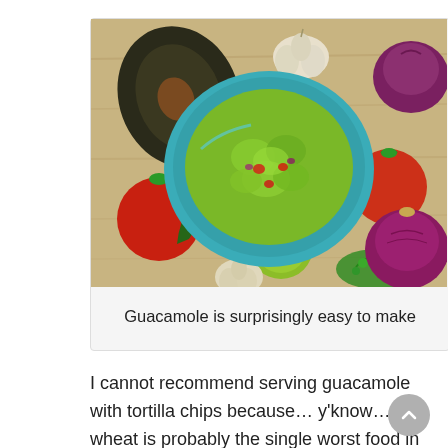[Figure (photo): Overhead photo of a teal bowl of guacamole surrounded by fresh ingredients on a wooden surface: avocado, tomatoes, jalapeño peppers, garlic, lime, red onion, and cilantro.]
Guacamole is surprisingly easy to make
I cannot recommend serving guacamole with tortilla chips because… y'know… wheat is probably the single worst food in the Standard American